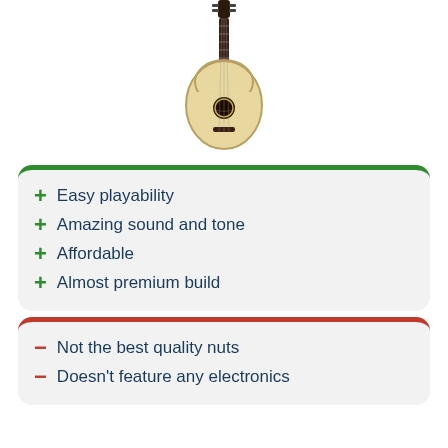[Figure (illustration): Acoustic guitar hanging vertically, light wood body, black neck and headstock, dreadnought style]
+ Easy playability
+ Amazing sound and tone
+ Affordable
+ Almost premium build
– Not the best quality nuts
– Doesn't feature any electronics